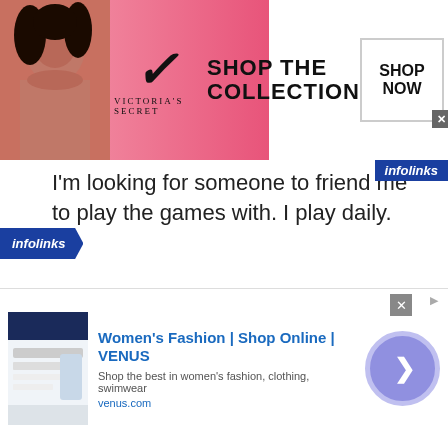[Figure (screenshot): Victoria's Secret banner ad with pink background, model, VS logo, SHOP THE COLLECTION text, and SHOP NOW button]
I'm looking for someone to friend me to play the games with. I play daily.
[Figure (screenshot): Green REPLY button with arrow icon]
[Figure (screenshot): Pagination navigation with « 1 2 » buttons, page 1 active]
[Figure (logo): infolinks badge bottom left]
[Figure (screenshot): Women's Fashion | Shop Online | VENUS advertisement with thumbnail, description and go button]